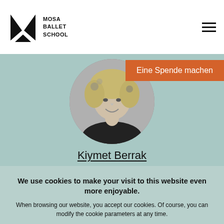MOSA BALLET SCHOOL
[Figure (photo): Black and white circular portrait photo of Kiymet Berrak, a woman with wavy blonde hair and flowers, smiling]
Eine Spende machen
Kiymet Berrak
We use cookies to make your visit to this website even more enjoyable.
When browsing our website, you accept our cookies. Of course, you can modify the cookie parameters at any time.
All Cookies
Only Technical Cookies
Read more about cookies